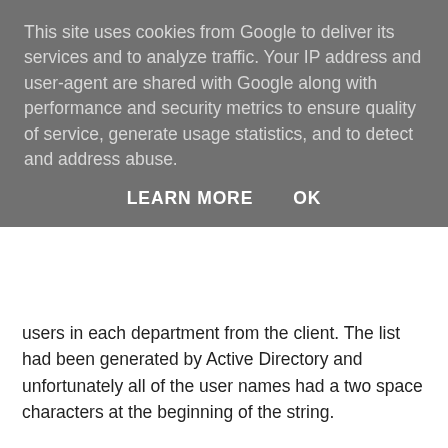This site uses cookies from Google to deliver its services and to analyze traffic. Your IP address and user-agent are shared with Google along with performance and security metrics to ensure quality of service, generate usage statistics, and to detect and address abuse.
LEARN MORE   OK
users in each department from the client. The list had been generated by Active Directory and unfortunately all of the user names had a two space characters at the beginning of the string.